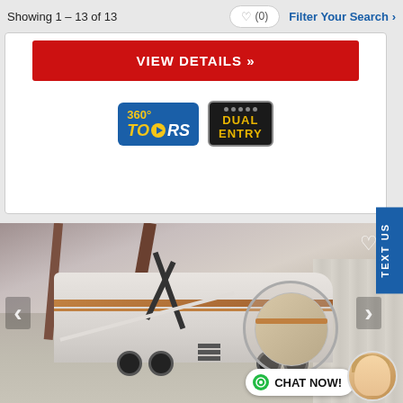Showing 1 – 13 of 13
♥ (0)
Filter Your Search >
VIEW DETAILS »
[Figure (logo): 360° TOURS badge logo - blue rectangular badge with yellow arrow and white text]
[Figure (logo): DUAL ENTRY badge - dark background with yellow text]
[Figure (photo): Travel trailer RV in an indoor warehouse/showroom with awning extended, photographed from the side. A circular inset shows a close-up of the front of the RV.]
TEXT US
CHAT NOW!